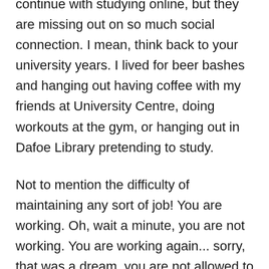continue with studying online, but they are missing out on so much social connection. I mean, think back to your university years. I lived for beer bashes and hanging out having coffee with my friends at University Centre, doing workouts at the gym, or hanging out in Dafoe Library pretending to study.
Not to mention the difficulty of maintaining any sort of job! You are working. Oh, wait a minute, you are not working. You are working again... sorry, that was a dream, you are not allowed to work. Oh, and by the way, we are not connecting with